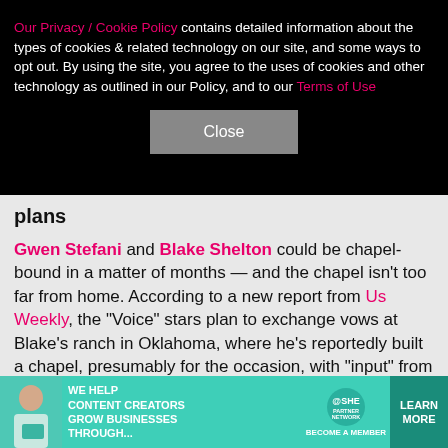Our Privacy / Cookie Policy contains detailed information about the types of cookies & related technology on our site, and some ways to opt out. By using the site, you agree to the uses of cookies and other technology as outlined in our Policy, and to our Terms of Use
Close
plans
Gwen Stefani and Blake Shelton could be chapel-bound in a matter of months — and the chapel isn't too far from home. According to a new report from Us Weekly, the "Voice" stars plan to exchange vows at Blake's ranch in Oklahoma, where he's reportedly built a chapel, presumably for the occasion, with "input" from Gwen. "It's really a tribute to their love," a source tells
[Figure (screenshot): Advertisement banner for SHE Media Partner Network — teal background with woman photo, text 'We help content creators grow businesses through...', SHE logo, and 'Learn More' button]